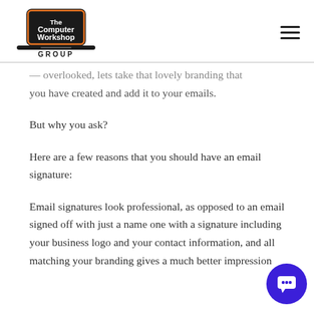[Figure (logo): The Computer Workshop Group logo with laptop illustration and orange border]
...overlooked, lets take that lovely branding that you have created and add it to your emails.
But why you ask?
Here are a few reasons that you should have an email signature:
Email signatures look professional, as opposed to an email signed off with just a name one with a signature including your business logo and your contact information, and all matching your branding gives a much better impression